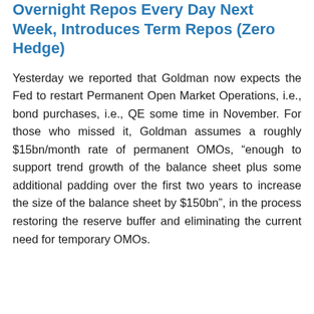Overnight Repos Every Day Next Week, Introduces Term Repos (Zero Hedge)
Yesterday we reported that Goldman now expects the Fed to restart Permanent Open Market Operations, i.e., bond purchases, i.e., QE some time in November. For those who missed it, Goldman assumes a roughly $15bn/month rate of permanent OMOs, “enough to support trend growth of the balance sheet plus some additional padding over the first two years to increase the size of the balance sheet by $150bn”, in the process restoring the reserve buffer and eliminating the current need for temporary OMOs.